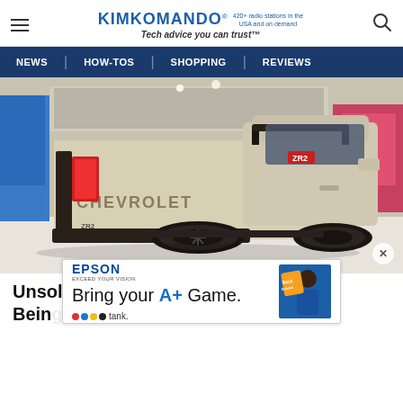KIMKOMANDO® 420+ radio stations in the USA and on demand — Tech advice you can trust™
NEWS | HOW-TOS | SHOPPING | REVIEWS
[Figure (photo): Rear three-quarter view of a tan/beige Chevrolet Colorado ZR2 pickup truck on display at an auto show, black wheels, red taillights, rollbar in bed]
Unsold Chevy Silverados Now Almost Being...
[Figure (screenshot): Epson EcoTank advertisement: 'Bring your A+ Game.' with ink bottle graphic and a person in blue shirt]